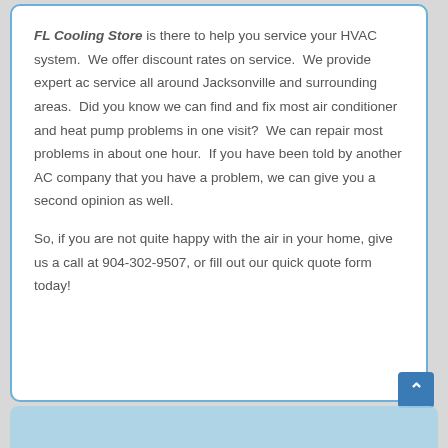FL Cooling Store is there to help you service your HVAC system.  We offer discount rates on service.  We provide expert ac service all around Jacksonville and surrounding areas.  Did you know we can find and fix most air conditioner and heat pump problems in one visit?  We can repair most problems in about one hour.  If you have been told by another AC company that you have a problem, we can give you a second opinion as well.

So, if you are not quite happy with the air in your home, give us a call at 904-302-9507, or fill out our quick quote form today!